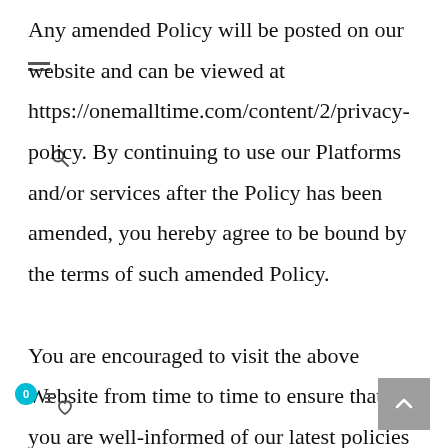Any amended Policy will be posted on our website and can be viewed at https://onemalltime.com/content/2/privacy-policy. By continuing to use our Platforms and/or services after the Policy has been amended, you hereby agree to be bound by the terms of such amended Policy.

You are encouraged to visit the above Website from time to time to ensure that you are well-informed of our latest policies in relation to Personal Data protection.